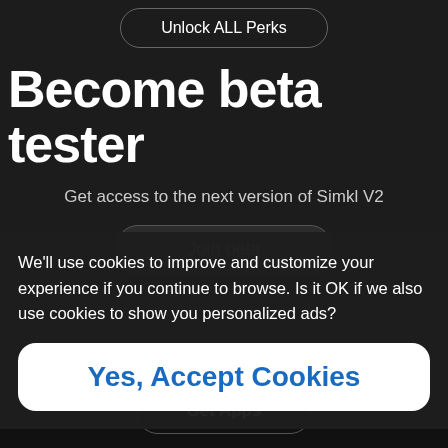Unlock ALL Perks
Become beta tester
Get access to the next version of Simkl V2
Join beta
We’ll use cookies to improve and customize your experience if you continue to browse. Is it OK if we also use cookies to show you personalized ads?
Yes, Accept Cookies
Get Apps